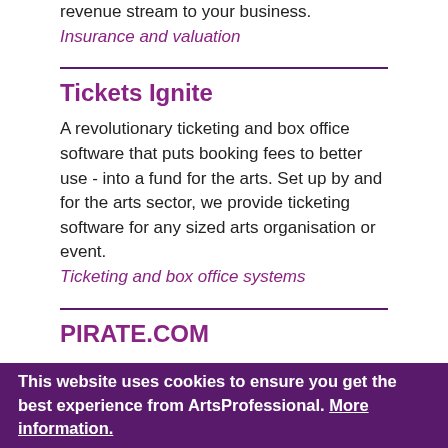revenue stream to your business.
Insurance and valuation
Tickets Ignite
A revolutionary ticketing and box office software that puts booking fees to better use - into a fund for the arts. Set up by and for the arts sector, we provide ticketing software for any sized arts organisation or event.
Ticketing and box office systems
PIRATE.COM
Musicians, podcasters, dancers — this is your space to create. 24/7 self-service studios for professional &
This website uses cookies to ensure you get the best experience from ArtsProfessional. More information.